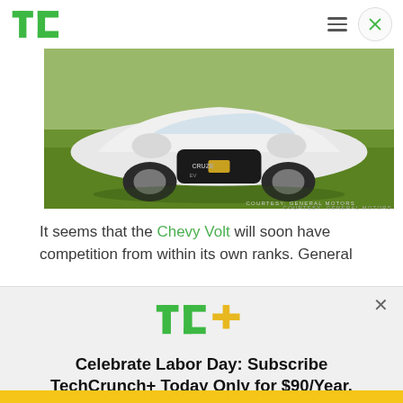TechCrunch
[Figure (photo): White Chevrolet Cruze EV car parked on green grass, front view. Courtesy: General Motors watermark visible.]
COURTESY: GENERAL MOTORS
It seems that the Chevy Volt will soon have competition from within its own ranks. General
[Figure (logo): TechCrunch TC+ logo in green with yellow plus sign]
Celebrate Labor Day: Subscribe TechCrunch+ Today Only for $90/Year.
GET OFFER NOW